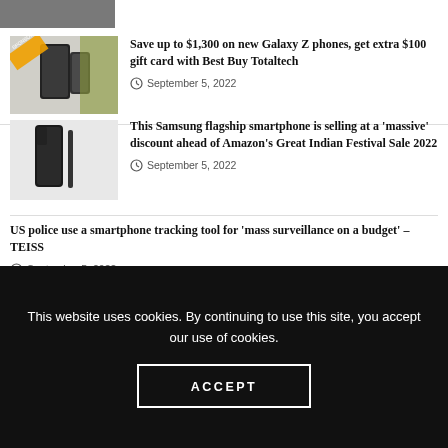[Figure (photo): Partial view of a cropped image at top of page]
Save up to $1,300 on new Galaxy Z phones, get extra $100 gift card with Best Buy Totaltech
September 5, 2022
[Figure (photo): Samsung Galaxy S22 Ultra smartphone in black]
This Samsung flagship smartphone is selling at a 'massive' discount ahead of Amazon's Great Indian Festival Sale 2022
September 5, 2022
US police use a smartphone tracking tool for 'mass surveillance on a budget' – TEISS
September 5, 2022
Technology News | Smartphone App Accurately
This website uses cookies. By continuing to use this site, you accept our use of cookies.
ACCEPT